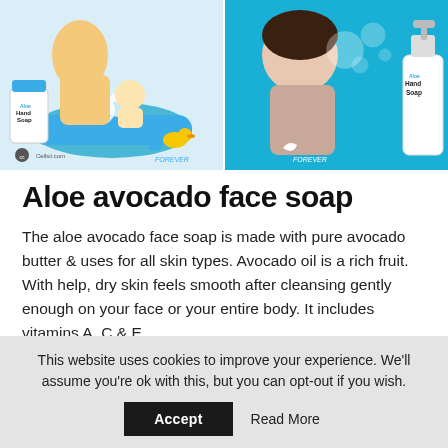[Figure (photo): Two-panel product advertisement banner. Left panel: mother bathing a baby in a blue tub with foam, with an Aloe Hand Soap product bottle visible. Text: Cellsii.com, FOREVER. Right panel: woman blowing bubbles in a bath, with an Aloe Hand Soap pump bottle on the right. Text: FOREVER. Teal/cyan background.]
Aloe avocado face soap
The aloe avocado face soap is made with pure avocado butter & uses for all skin types. Avocado oil is a rich fruit. With help, dry skin feels smooth after cleansing gently enough on your face or your entire body. It includes vitamins A, C & E.
This website uses cookies to improve your experience. We'll assume you're ok with this, but you can opt-out if you wish.
Accept   Read More